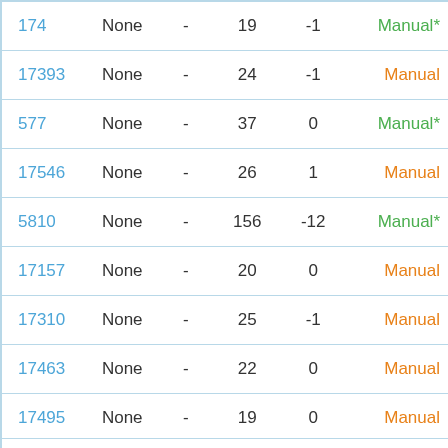| ID | Type | - | Col1 | Col2 | Status |
| --- | --- | --- | --- | --- | --- |
| 174 | None | - | 19 | -1 | Manual* |
| 17393 | None | - | 24 | -1 | Manual |
| 577 | None | - | 37 | 0 | Manual* |
| 17546 | None | - | 26 | 1 | Manual |
| 5810 | None | - | 156 | -12 | Manual* |
| 17157 | None | - | 20 | 0 | Manual |
| 17310 | None | - | 25 | -1 | Manual |
| 17463 | None | - | 22 | 0 | Manual |
| 17495 | None | - | 19 | 0 | Manual |